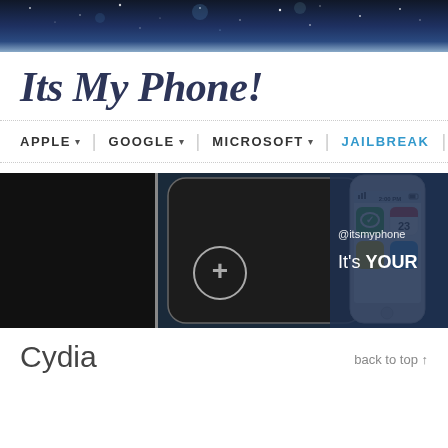[Figure (photo): Dark blue starry night sky banner at the top of the page]
Its My Phone!
APPLE ▾  |  GOOGLE ▾  |  MICROSOFT ▾  |  JAILBREAK  |  A
[Figure (photo): Banner image showing iPhone 5 devices against dark background with text '@itsmyphone It's YOUR']
Cydia
back to top ↑